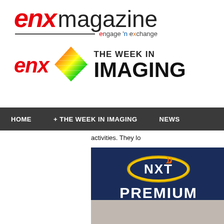[Figure (logo): ENX Magazine logo with red italic 'enx' and gray 'magazine' text, with 'engage n exchange' tagline and underline]
[Figure (logo): ENX The Week In Imaging logo with red italic 'enx', colorful diamond icon, and 'THE WEEK IN IMAGING' text]
HOME   + THE WEEK IN IMAGING   NEWS
activities. They lo
[Figure (logo): NXT Premium Replacement Cartridges advertisement with dark navy background, NXT badge logo, PREMIUM text]
[Figure (photo): Partial photo visible at bottom right]